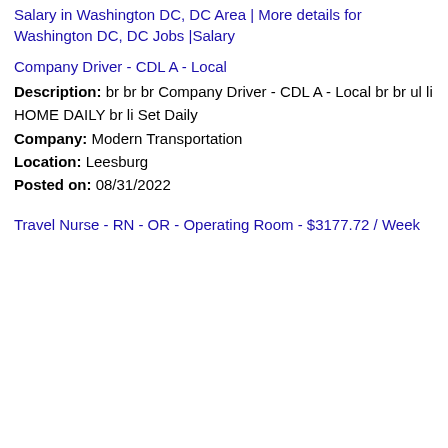Salary in Washington DC, DC Area | More details for Washington DC, DC Jobs |Salary
Company Driver - CDL A - Local
Description: br br br Company Driver - CDL A - Local br br ul li HOME DAILY br li Set Daily
Company: Modern Transportation
Location: Leesburg
Posted on: 08/31/2022
Travel Nurse - RN - OR - Operating Room - $3177.72 / Week